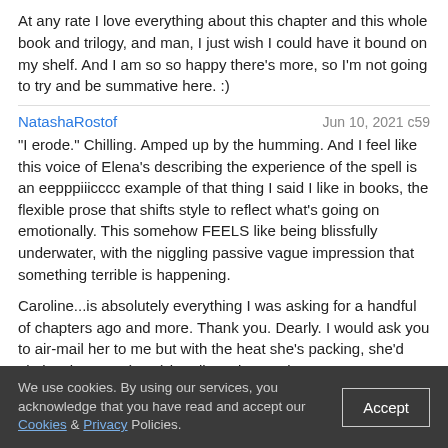At any rate I love everything about this chapter and this whole book and trilogy, and man, I just wish I could have it bound on my shelf. And I am so so happy there's more, so I'm not going to try and be summative here. :)
NatashaRostof   Jun 10, 2021 c59
"I erode." Chilling. Amped up by the humming. And I feel like this voice of Elena's describing the experience of the spell is an eepppiiicccc example of that thing I said I like in books, the flexible prose that shifts style to reflect what's going on emotionally. This somehow FEELS like being blissfully underwater, with the niggling passive vague impression that something terrible is happening.

Caroline...is absolutely everything I was asking for a handful of chapters ago and more. Thank you. Dearly. I would ask you to air-mail her to me but with the heat she's packing, she'd obviously never (ever) be allowed on a plane.

I think I've said before that you do the most interesting things with bones, and MAN this doesn't disappoint. "[I want to] grind their bones under the soles of my feet so my toes can absorb the sounds," WTAF is that, that is so INTERESTING and BIZARRE and SPECIFIC but it's also like...a depraved version of a foot spa or something? She wants her toes to absorb the sounds of her enemies' bones crushing...something about wanting something so hedonistic for your TOES...? It's like...nefariously deliciously new-Caroline.
We use cookies. By using our services, you acknowledge that you have read and accept our Cookies & Privacy Policies.